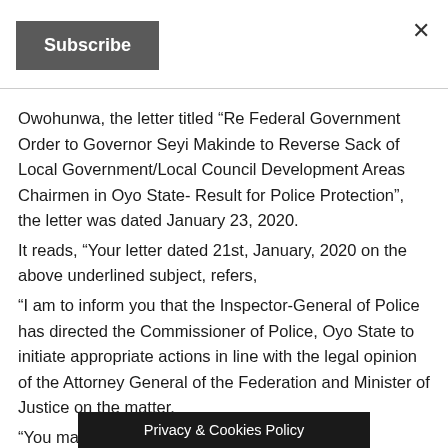Subscribe
Owohunwa, the letter titled “Re Federal Government Order to Governor Seyi Makinde to Reverse Sack of Local Government/Local Council Development Areas Chairmen in Oyo State- Result for Police Protection”, the letter was dated January 23, 2020.
It reads, “Your letter dated 21st, January, 2020 on the above underlined subject, refers,
“I am to inform you that the Inspector-General of Police has directed the Commissioner of Police, Oyo State to initiate appropriate actions in line with the legal opinion of the Attorney General of the Federation and Minister of Justice on the matter.
“You may accordingly, liai… Accept the
Privacy & Cookies Policy